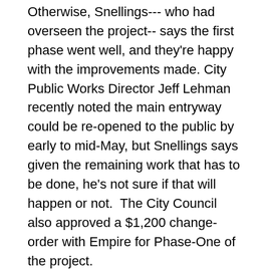Otherwise, Snellings--- who had overseen the project-- says the first phase went well, and they're happy with the improvements made. City Public Works Director Jeff Lehman recently noted the main entryway could be re-opened to the public by early to mid-May, but Snellings says given the remaining work that has to be done, he's not sure if that will happen or not. The City Council also approved a $1,200 change-order with Empire for Phase-One of the project.
Three brothers were arrested following a fight at a bar in the town of Busti Sunday. State Police in Jamestown say they were called to a "fight-in-progress" at the undisclosed location and, say 22 year-old Cody Haller, 21 year-old Zachary Haller and, 26 year-old Kyle Haller were allegedly fighting with patrons and began fighting with Troopers on-scene. Police investigation revealed that Zachary and Kyle Haller assaulted patrons of the bar,